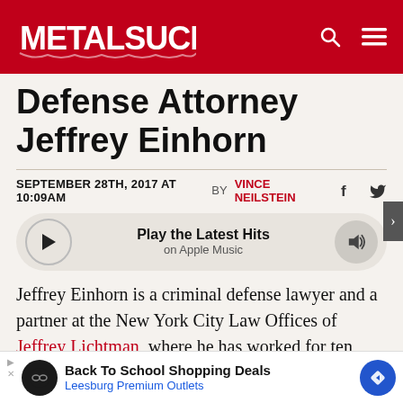METALSUCKS
Defense Attorney Jeffrey Einhorn
SEPTEMBER 28TH, 2017 AT 10:09AM  BY  VINCE NEILSTEIN
[Figure (other): Play the Latest Hits on Apple Music audio player bar with play button and volume icon]
Jeffrey Einhorn is a criminal defense lawyer and a partner at the New York City Law Offices of Jeffrey Lichtman, where he has worked for ten years. The firm specializes in high-profile federal criminal defense cases, with past and current clients including El Chapo
[Figure (other): Advertisement banner: Back To School Shopping Deals - Leesburg Premium Outlets]